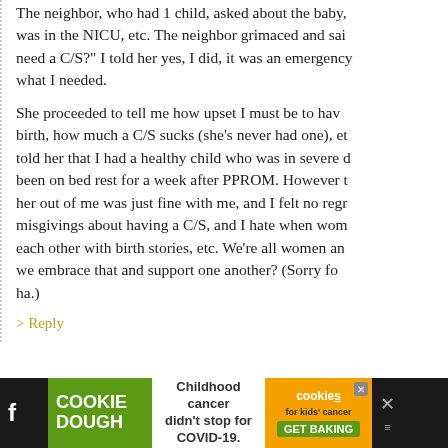The neighbor, who had 1 child, asked about the baby, was in the NICU, etc. The neighbor grimaced and said need a C/S?” I told her yes, I did, it was an emergency what I needed.
She proceeded to tell me how upset I must be to have birth, how much a C/S sucks (she’s never had one), et told her that I had a healthy child who was in severe been on bed rest for a week after PPROM. However her out of me was just fine with me, and I felt no regr misgivings about having a C/S, and I hate when wom each other with birth stories, etc. We’re all women ar we embrace that and support one another? (Sorry fo ha.)
> Reply
Heather says:
JULY 12TH, 2011 AT 6:11 AM
Amen. You hit the nail right on the head!
[Figure (other): Advertisement bar at the bottom: Cookie Dough brand ad for kids cancer charity, featuring green Cookie Dough logo, text 'Childhood cancer didn’t stop for COVID-19.', cookies for kids cancer logo in orange, GET BAKING button, and social media/close icons.]